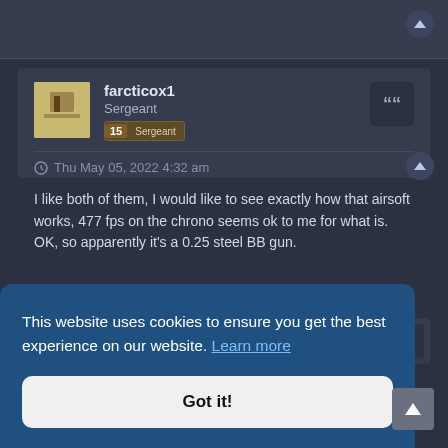[Figure (screenshot): Forum post by user farcticox1 with Sergeant rank badge (level 15), timestamp Thu May 05, 2022 4:32 am, and post text about airsoft.]
farcticox1
Sergeant
15  Sergeant
Thu May 05, 2022 4:32 am
I like both of them, I would like to see exactly how that airsoft works, 477 fps on the chrono seems ok to me for what is. OK, so apparently it's a 0.25 steel BB gun.
This website uses cookies to ensure you get the best experience on our website. Learn more
Got it!